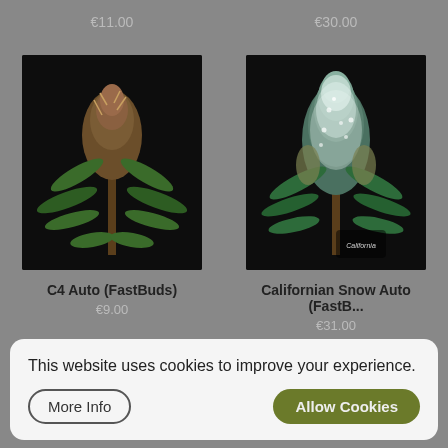€11.00
€30.00
[Figure (photo): Cannabis plant with dense bud, dark background - C4 Auto (FastBuds) product image]
C4 Auto (FastBuds)
€9.00
[Figure (photo): Cannabis plant with frosted/icy bud, dark background with California bear logo - Californian Snow Auto (FastBuds) product image]
Californian Snow Auto (FastB...
€31.00
This website uses cookies to improve your experience.
More Info
Allow Cookies